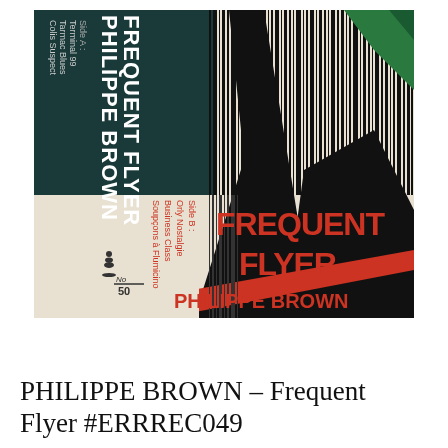[Figure (illustration): Album cover artwork for 'Frequent Flyer' by Philippe Brown. Graphic design with bold geometric shapes in black, cream/beige, red/orange, dark teal and green. Features vertical barcode-like stripes, a large black arrow/plane shape, and bold text reading 'FREQUENT FLYER' and 'PHILIPPE BROWN' in orange-red. Left side shows track listings: Side A: Terminal 99, Tarmac Blues, Colis Suspect; Side B: Orly Nostalgie, Business Class, Soupçons à Flumicino. Also shows 'No. 50' marking.]
PHILIPPE BROWN – Frequent Flyer #ERRREC049